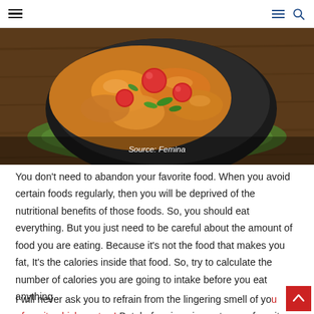Navigation header with hamburger menu icons and search icon
[Figure (photo): Overhead shot of a dark pan/bowl containing a colorful food dish with tomatoes, orange-glazed pieces, and green herbs on a wooden surface with a green leaf underneath. Source: Femina]
Source: Femina
You don't need to abandon your favorite food. When you avoid certain foods regularly, then you will be deprived of the nutritional benefits of those foods. So, you should eat everything. But you just need to be careful about the amount of food you are eating. Because it's not the food that makes you fat, It's the calories inside that food. So, try to calculate the number of calories you are going to intake before you eat anything.
I will never ask you to refrain from the lingering smell of your favorite chicken stew! But, before jumping onto your favorite